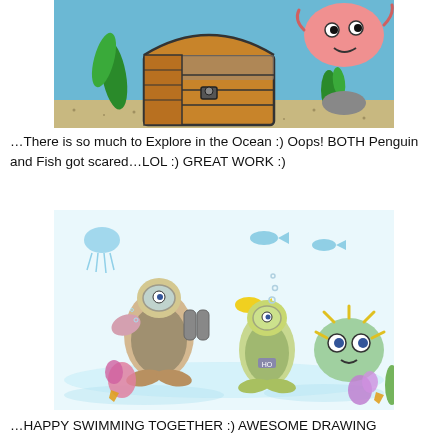[Figure (illustration): Children's drawing of an underwater scene with a treasure chest, green seaweed, and a pink round fish/character with googly eyes on a blue ocean background.]
…There is so much to Explore in the Ocean :) Oops! BOTH Penguin and Fish got scared…LOL :) GREAT WORK :)
[Figure (illustration): Children's colored pencil drawing of an underwater scene featuring a penguin in a diving suit, a round green spiky puffer fish character, a diver character, small fish, starfish, coral, and seaweed on a white background.]
...HAPPY SWIMMING TOGETHER :) AWESOME DRAWING